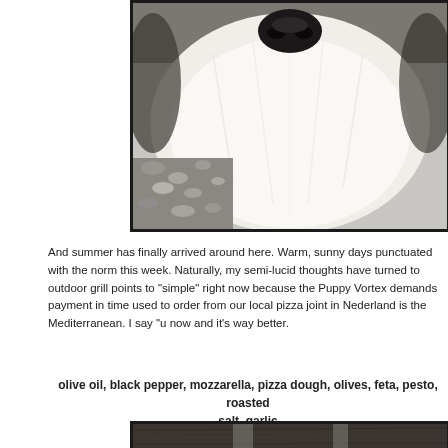[Figure (photo): Close-up photo of a dog (black nose, white fluffy fur) lying on gravel or pebbles, viewed from above/front. The image is cropped showing mostly the white fur and dark nose at top.]
And summer has finally arrived around here. Warm, sunny days punctuated with the norm this week. Naturally, my semi-lucid thoughts have turned to outdoor grill points to "simple" right now because the Puppy Vortex demands payment in time used to order from our local pizza joint in Nederland is the Mediterranean. I say "u now and it's way better.
olive oil, black pepper, mozzarella, pizza dough, olives, feta, pesto, roasted salt, garlic
[Figure (photo): Bottom portion of a photo showing kitchen/cooking items on a wooden surface, partially visible.]